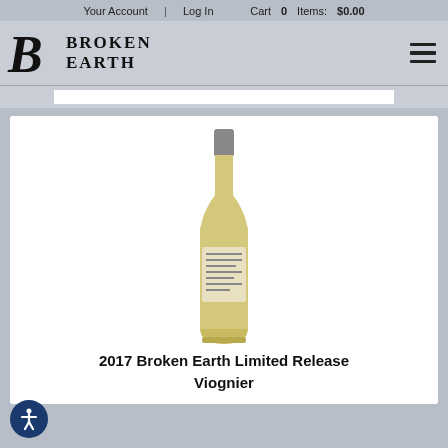Your Account | Log In    Cart 0 Items: $0.00
[Figure (logo): Broken Earth winery logo with stylized 'B' and text 'BROKEN EARTH']
[Figure (photo): Wine bottle of 2017 Broken Earth Limited Release Viognier with pale yellow wine and grey capsule]
2017 Broken Earth Limited Release Viognier